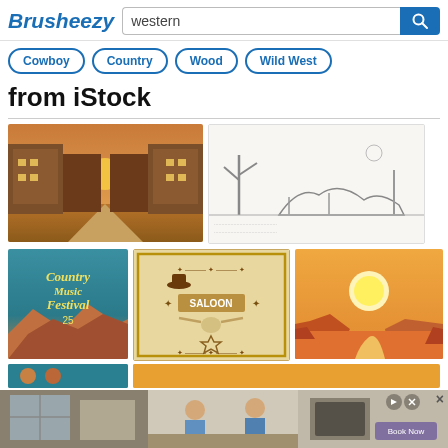Brusheezy
western (search query)
Cowboy
Country
Wood
Wild West
from iStock
[Figure (illustration): Western town street scene at sunset with buildings on both sides and a dirt road perspective]
[Figure (illustration): Sketch-style desert scene with cacti and rock formations]
[Figure (illustration): Country Music Festival poster with text and red rock canyon background, number 25]
[Figure (illustration): Saloon banner with western decorative elements, cowboy hat, longhorn skull, badge]
[Figure (illustration): Desert sunset scene with orange mesas and winding road]
[Figure (illustration): Partial blue banner visible at bottom]
[Figure (photo): Advertisement banner showing a kitchen scene with people cooking]